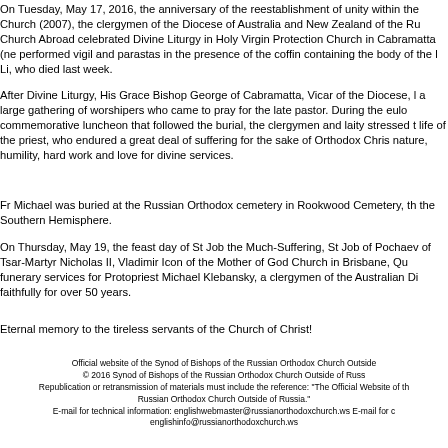On Tuesday, May 17, 2016, the anniversary of the reestablishment of unity within the Church (2007), the clergymen of the Diocese of Australia and New Zealand of the Russian Church Abroad celebrated Divine Liturgy in Holy Virgin Protection Church in Cabramatta (near Sydney), performed vigil and parastas in the presence of the coffin containing the body of the late Fr Michael Li, who died last week.
After Divine Liturgy, His Grace Bishop George of Cabramatta, Vicar of the Diocese, led a large gathering of worshipers who came to pray for the late pastor. During the eulogy and commemorative luncheon that followed the burial, the clergymen and laity stressed the selfless life of the priest, who endured a great deal of suffering for the sake of Orthodox Christianity, his nature, humility, hard work and love for divine services.
Fr Michael was buried at the Russian Orthodox cemetery in Rookwood Cemetery, the largest in the Southern Hemisphere.
On Thursday, May 19, the feast day of St Job the Much-Suffering, St Job of Pochaev, and of Tsar-Martyr Nicholas II, Vladimir Icon of the Mother of God Church in Brisbane, Queensland, funerary services for Protopriest Michael Klebansky, a clergymen of the Australian Diocese who faithfully for over 50 years.
Eternal memory to the tireless servants of the Church of Christ!
Official website of the Synod of Bishops of the Russian Orthodox Church Outside of Russia. © 2016 Synod of Bishops of the Russian Orthodox Church Outside of Russia. Republication or retransmission of materials must include the reference: "The Official Website of the Russian Orthodox Church Outside of Russia." E-mail for technical information: englishwebmaster@russianorthodoxchurch.ws E-mail for content: englishinfo@russianorthodoxchurch.ws